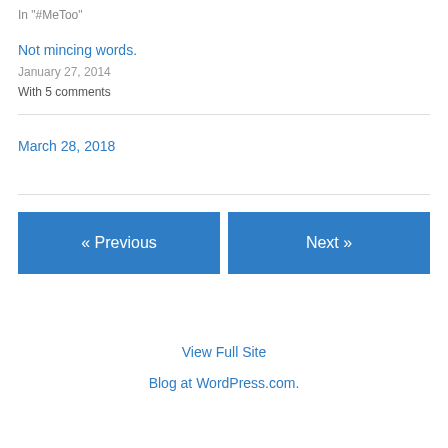In "#MeToo"
Not mincing words.
January 27, 2014
With 5 comments
March 28, 2018
« Previous
Next »
View Full Site
Blog at WordPress.com.